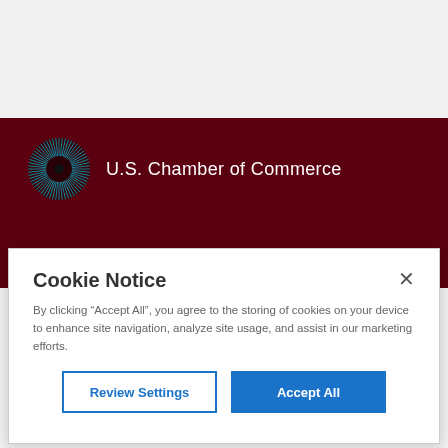[Figure (logo): U.S. Chamber of Commerce logo — circular radial sunburst pattern in cyan on dark maroon background, with text 'U.S. Chamber of Commerce' in white]
Featured Topics
Cookie Notice
By clicking “Accept All”, you agree to the storing of cookies on your device to enhance site navigation, analyze site usage, and assist in our marketing efforts.
Review Settings
Accept All